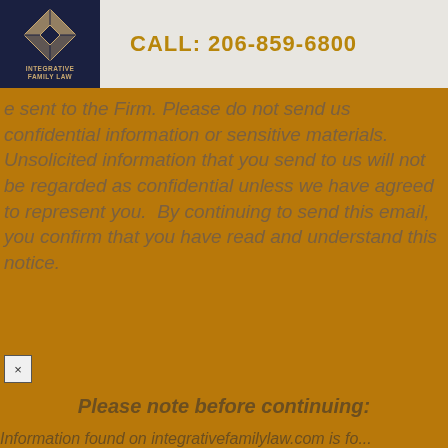[Figure (logo): Integrative Family Law logo with diamond geometric shape on dark navy background]
CALL: 206-859-6800
e sent to the Firm. Please do not send us confidential information or sensitive materials. Unsolicited information that you send to us will not be regarded as confidential unless we have agreed to represent you. By continuing to send this email, you confirm that you have read and understand this notice.
×
Please note before continuing:
Information found on integrativefamilylaw.com is fo...